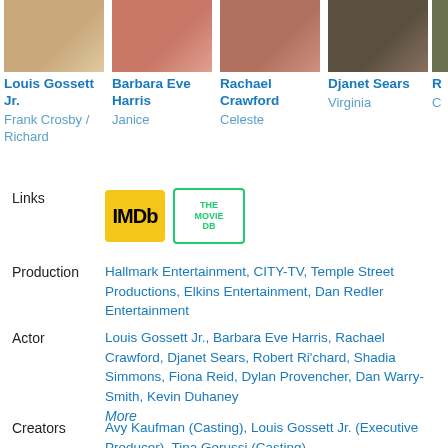[Figure (photo): Cast member photo: Louis Gossett Jr.]
Louis Gossett Jr.
Frank Crosby / Richard
[Figure (photo): Cast member photo: Barbara Eve Harris]
Barbara Eve Harris
Janice
[Figure (photo): Cast member photo: Rachael Crawford]
Rachael Crawford
Celeste
[Figure (photo): Cast member photo: Djanet Sears]
Djanet Sears
Virginia
Links
[Figure (logo): IMDb logo (yellow background, black bold text)]
[Figure (logo): The Movie DB logo (green border, green text)]
Production
Hallmark Entertainment, CITY-TV, Temple Street Productions, Elkins Entertainment, Dan Redler Entertainment
Actor
Louis Gossett Jr., Barbara Eve Harris, Rachael Crawford, Djanet Sears, Robert Ri'chard, Shadia Simmons, Fiona Reid, Dylan Provencher, Dan Warry-Smith, Kevin Duhaney
More
Creators
Avy Kaufman (Casting), Louis Gossett Jr. (Executive Producer), Tina Gerussi (Casting),